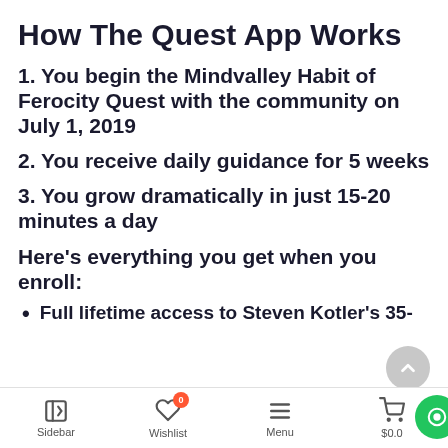How The Quest App Works
1. You begin the Mindvalley Habit of Ferocity Quest with the community on July 1, 2019
2. You receive daily guidance for 5 weeks
3. You grow dramatically in just 15-20 minutes a day
Here's everything you get when you enroll:
Full lifetime access to Steven Kotler's 35-